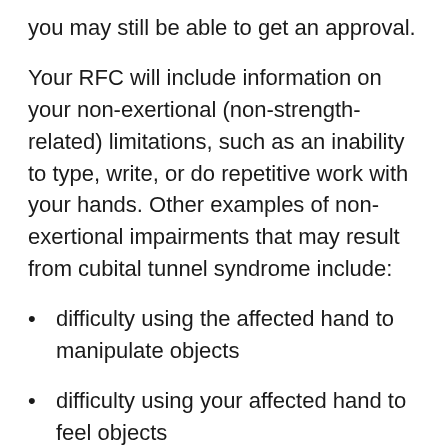you may still be able to get an approval.
Your RFC will include information on your non-exertional (non-strength-related) limitations, such as an inability to type, write, or do repetitive work with your hands. Other examples of non-exertional impairments that may result from cubital tunnel syndrome include:
difficulty using the affected hand to manipulate objects
difficulty using your affected hand to feel objects
difficulty reaching overhead
the inability to concentrate and focus (due to pain), and
the inability to follow work place instructions...